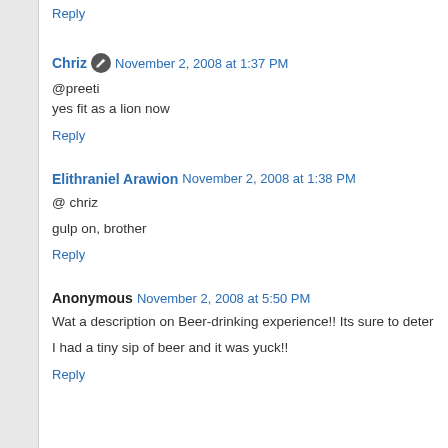Reply
Chriz  November 2, 2008 at 1:37 PM
@preeti
yes fit as a lion now
Reply
Elithraniel Arawion  November 2, 2008 at 1:38 PM
@ chriz
gulp on, brother
Reply
Anonymous  November 2, 2008 at 5:50 PM
Wat a description on Beer-drinking experience!! Its sure to deter
I had a tiny sip of beer and it was yuck!!
Reply